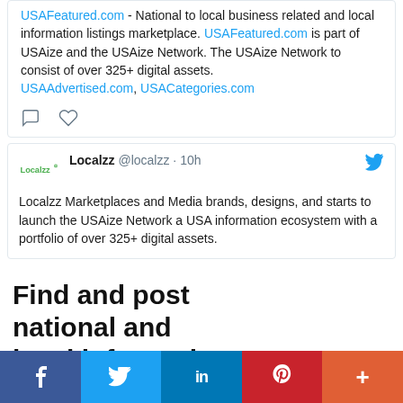USAFeatured.com - National to local business related and local information listings marketplace. USAFeatured.com is part of USAize and the USAize Network. The USAize Network to consist of over 325+ digital assets. USAAdvertised.com, USACategories.com
Localzz @localzz · 10h
Localzz Marketplaces and Media brands, designs, and starts to launch the USAize Network a USA information ecosystem with a portfolio of over 325+ digital assets.
Find and post national and local information